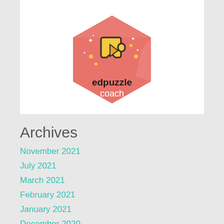[Figure (logo): Edpuzzle Coach badge — a salmon/coral colored hexagon shape with a yellow puzzle piece icon, sparkle stars, and the text 'edpuzzle' in dark letters and 'coach' in white letters below it]
Archives
November 2021
July 2021
March 2021
February 2021
January 2021
December 2020
November 2020